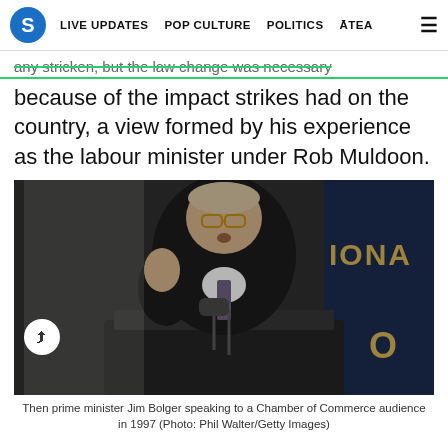S  LIVE UPDATES  POP CULTURE  POLITICS  ĀTEA  ≡
any stricken, but the law change was necessary because of the impact strikes had on the country, a view formed by his experience as the labour minister under Rob Muldoon.
[Figure (photo): Then prime minister Jim Bolger speaking at a podium/lectern at a Chamber of Commerce event in 1997, wearing a dark suit and glasses, with a microphone in front of him and a banner with 'IONAL' visible in the background.]
Then prime minister Jim Bolger speaking to a Chamber of Commerce audience in 1997 (Photo: Phil Walter/Getty Images)